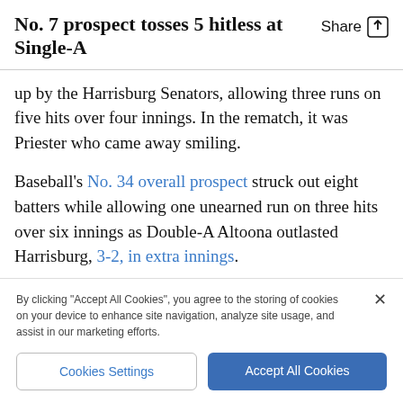No. 7 prospect tosses 5 hitless at Single-A
up by the Harrisburg Senators, allowing three runs on five hits over four innings. In the rematch, it was Priester who came away smiling.
Baseball's No. 34 overall prospect struck out eight batters while allowing one unearned run on three hits over six innings as Double-A Altoona outlasted Harrisburg, 3-2, in extra innings.
By clicking "Accept All Cookies", you agree to the storing of cookies on your device to enhance site navigation, analyze site usage, and assist in our marketing efforts.
Cookies Settings | Accept All Cookies